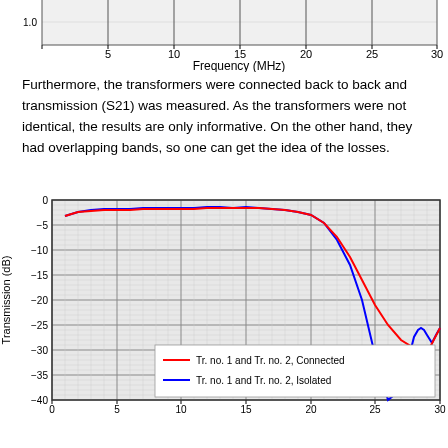[Figure (continuous-plot): Top portion of a frequency response chart showing x-axis (Frequency in MHz, 5 to 30) and partial y-axis with value 1.0 visible. The chart is cropped.]
Furthermore, the transformers were connected back to back and transmission (S21) was measured. As the transformers were not identical, the results are only informative. On the other hand, they had overlapping bands, so one can get the idea of the losses.
[Figure (line-chart): Line chart showing Transmission (dB) vs frequency (0 to 30 MHz). Two lines: red (Tr. no. 1 and Tr. no. 2, Connected) stays near -2dB from 1-22MHz then drops steeply to about -27dB at 30MHz. Blue (Tr. no. 1 and Tr. no. 2, Isolated) stays near -2dB from 1-21MHz then drops sharply to near -40dB around 28MHz, then recovers to about -27dB at 30MHz.]